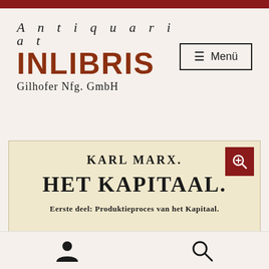[Figure (logo): Antiquariat INLIBRIS Gilhofer Nfg. GmbH logo with stylized text]
≡  Menü
[Figure (photo): Photo of a book title page showing KARL MARX. HET KAPITAAL. Eerste deel: Produktieproces van het Kapitaal.]
[Figure (infographic): Bottom navigation bar with user/account icon and search icon]